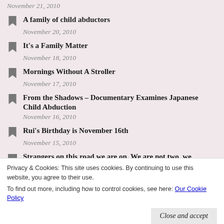November 21, 2010
A family of child abductors
November 20, 2010
It's a Family Matter
November 18, 2010
Mornings Without A Stroller
November 17, 2010
From the Shadows – Documentary Examines Japanese Child Abduction
November 16, 2010
Rui's Birthday is November 16th
November 15, 2010
Strangers on this road we are on. We are not two, we…
Privacy & Cookies: This site uses cookies. By continuing to use this website, you agree to their use.
To find out more, including how to control cookies, see here: Our Cookie Policy
My beautiful boy, born and raised in New York,